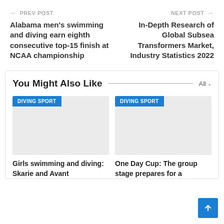← PREV POST
Alabama men's swimming and diving earn eighth consecutive top-15 finish at NCAA championship
NEXT POST →
In-Depth Research of Global Subsea Transformers Market, Industry Statistics 2022
You Might Also Like
All
DIVING SPORT
Girls swimming and diving: Skarie and Avant
DIVING SPORT
One Day Cup: The group stage prepares for a